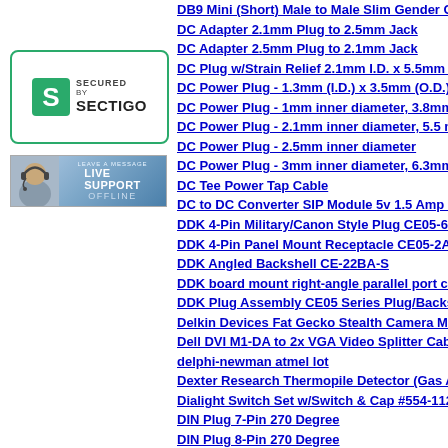[Figure (logo): Secured by Sectigo badge - green border, S logo, text SECURED BY SECTIGO]
[Figure (photo): Live Support offline banner with headset agent photo]
DB9 Mini (Short) Male to Male Slim Gender Cha...
DC Adapter 2.1mm Plug to 2.5mm Jack
DC Adapter 2.5mm Plug to 2.1mm Jack
DC Plug w/Strain Relief 2.1mm I.D. x 5.5mm O...
DC Power Plug - 1.3mm (I.D.) x 3.5mm (O.D.)
DC Power Plug - 1mm inner diameter, 3.8mm o...
DC Power Plug - 2.1mm inner diameter, 5.5 mm...
DC Power Plug - 2.5mm inner diameter
DC Power Plug - 3mm inner diameter, 6.3mm o...
DC Tee Power Tap Cable
DC to DC Converter SIP Module 5v 1.5 Amp Mo...
DDK 4-Pin Military/Canon Style Plug CE05-6A-...
DDK 4-Pin Panel Mount Receptacle CE05-2A22...
DDK Angled Backshell CE-22BA-S
DDK board mount right-angle parallel port con...
DDK Plug Assembly CE05 Series Plug/Backsh...
Delkin Devices Fat Gecko Stealth Camera Mou...
Dell DVI M1-DA to 2x VGA Video Splitter Cable...
delphi-newman atmel lot
Dexter Research Thermopile Detector (Gas An...
Dialight Switch Set w/Switch & Cap #554-1121-...
DIN Plug 7-Pin 270 Degree
DIN Plug 8-Pin 270 Degree
Diode Rectifier 1N4003 200V, 1 Amp DO-41 Pkg...
Dip Solder Connector - 10 position, .100 center...